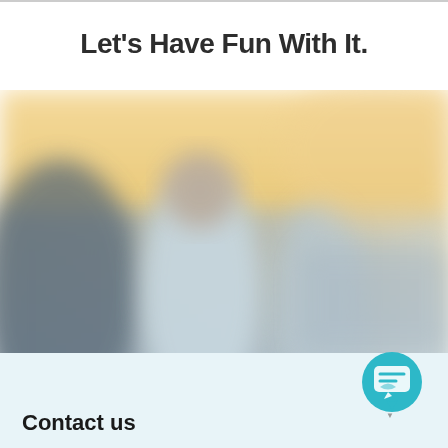Let's Have Fun With It.
[Figure (photo): Blurred outdoor photo of a person standing, with a warm/cool blurred background suggesting an urban or rooftop setting]
Contact us